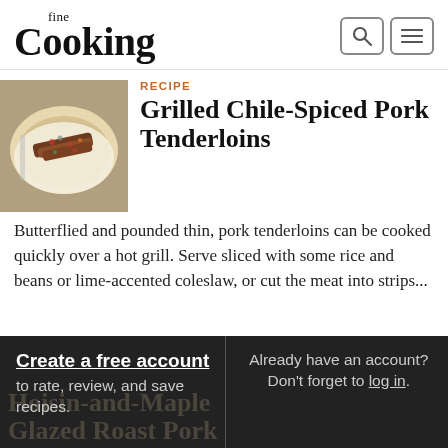fine Cooking
[Figure (photo): Plated grilled pork tenderloins with bean salsa on a white plate]
RECIPE
Grilled Chile-Spiced Pork Tenderloins
Butterflied and pounded thin, pork tenderloins can be cooked quickly over a hot grill. Serve sliced with some rice and beans or lime-accented coleslaw, or cut the meat into strips...
Create a free account to rate, review, and save recipes.
Already have an account? Don't forget to log in.